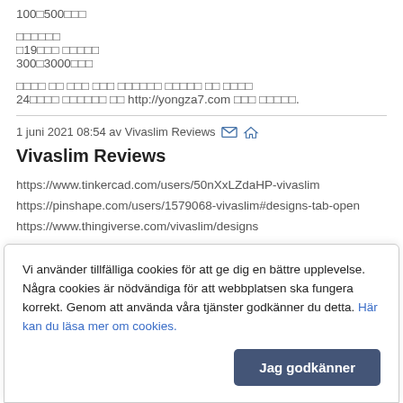100□500□□□
□□□□□□
□19□□□ □□□□□
300□3000□□□
□□□□ □□ □□□ □□□ □□□□□□ □□□□□ □□ □□□□
24□□□□ □□□□□□ □□ http://yongza7.com □□□ □□□□□.
1 juni 2021 08:54 av Vivaslim Reviews
Vivaslim Reviews
https://www.tinkercad.com/users/50nXxLZdaHP-vivaslim
https://pinshape.com/users/1579068-vivaslim#designs-tab-open
https://www.thingiverse.com/vivaslim/designs
Vi använder tillfälliga cookies för att ge dig en bättre upplevelse. Några cookies är nödvändiga för att webbplatsen ska fungera korrekt. Genom att använda våra tjänster godkänner du detta. Här kan du läsa mer om cookies.
Jag godkänner